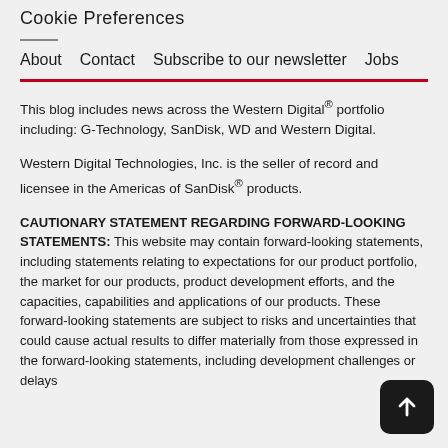Cookie Preferences
About   Contact   Subscribe to our newsletter   Jobs
This blog includes news across the Western Digital® portfolio including: G-Technology, SanDisk, WD and Western Digital.
Western Digital Technologies, Inc. is the seller of record and licensee in the Americas of SanDisk® products.
CAUTIONARY STATEMENT REGARDING FORWARD-LOOKING STATEMENTS: This website may contain forward-looking statements, including statements relating to expectations for our product portfolio, the market for our products, product development efforts, and the capacities, capabilities and applications of our products. These forward-looking statements are subject to risks and uncertainties that could cause actual results to differ materially from those expressed in the forward-looking statements, including development challenges or delays